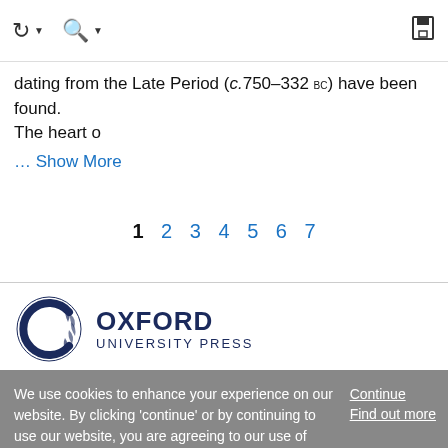Navigation header with login, search, and save icons
dating from the Late Period (c.750–332 bc) have been found. The heart o
… Show More
1 2 3 4 5 6 7
[Figure (logo): Oxford University Press logo — circular 'C' shape with OXFORD UNIVERSITY PRESS text]
We use cookies to enhance your experience on our website. By clicking 'continue' or by continuing to use our website, you are agreeing to our use of cookies. You can change your cookie settings at any time.
Continue Find out more